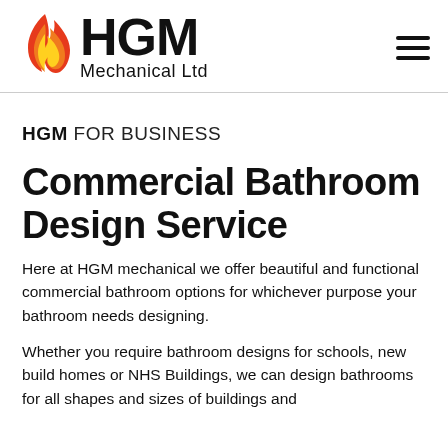[Figure (logo): HGM Mechanical Ltd logo with orange flame icon and bold HGM text]
HGM FOR BUSINESS
Commercial Bathroom Design Service
Here at HGM mechanical we offer beautiful and functional commercial bathroom options for whichever purpose your bathroom needs designing.
Whether you require bathroom designs for schools, new build homes or NHS Buildings, we can design bathrooms for all shapes and sizes of buildings and